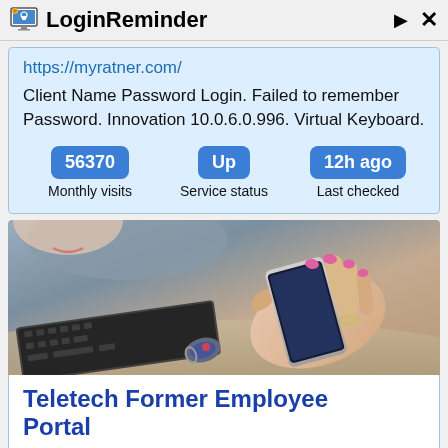LoginReminder
https://myratner.com/
Client Name Password Login. Failed to remember Password. Innovation 10.0.6.0.996. Virtual Keyboard.
56370 Monthly visits | Up Service status | 12h ago Last checked
[Figure (photo): Photo of a person holding a smartphone near a laptop keyboard]
Teletech Former Employee Portal